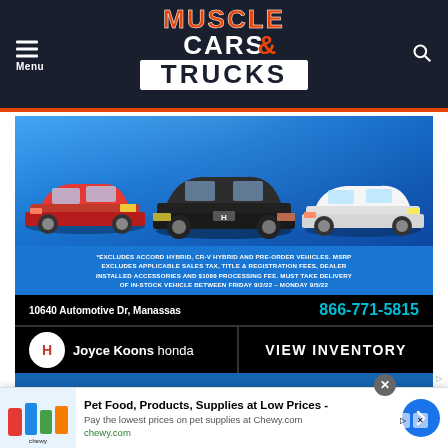Muscle Cars & Trucks
[Figure (photo): Joyce Koons Honda advertisement showing three Honda vehicles (red sedan, dark SUV, white SUV) with text: *EXCLUDES ACCORD HYBRID, CR-V HYBRID AND PRE-ORDER VEHICLES. MSRP EXCLUDES APPLICABLE SALES TAX, TITLE & REGISTRATION FEES, DEALER INSTALLED ACCESSORIES AND $1099 PROCESSING FEE. MUST TAKE DELIVERY OF IN-STOCK VEHICLE BETWEEN FRIDAY 9/2/22 - MONDAY 9/5/22. 10640 Automotive Dr, Manassas 866-771-5815. Joyce Koons Honda. VIEW INVENTORY.]
[Figure (photo): PAY MSRP advertisement banner with American flag background and red banner text]
[Figure (photo): Chewy.com advertisement: Pet Food, Products, Supplies at Low Prices - Pay the lowest prices on pet supplies at Chewy.com]